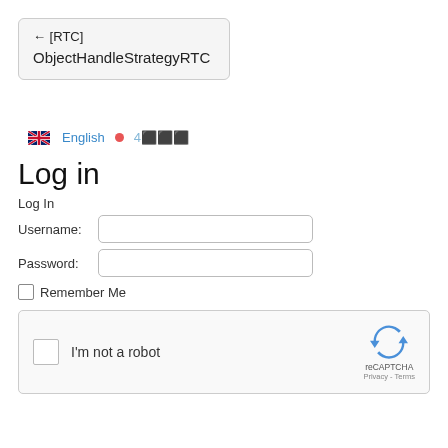← [RTC] ObjectHandleStrategyRTC
English • 4⬛⬛⬛
Log in
Log In
Username:
Password:
Remember Me
[Figure (screenshot): reCAPTCHA widget with 'I'm not a robot' checkbox and reCAPTCHA logo with Privacy and Terms links]